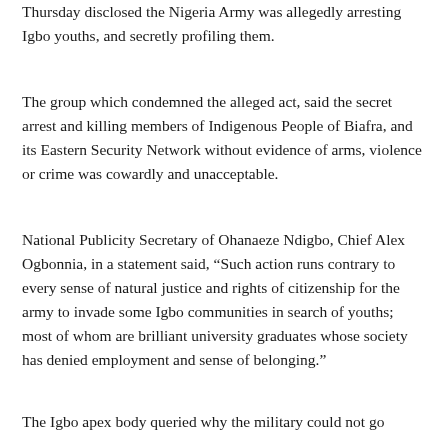Thursday disclosed the Nigeria Army was allegedly arresting Igbo youths, and secretly profiling them.
The group which condemned the alleged act, said the secret arrest and killing members of Indigenous People of Biafra, and its Eastern Security Network without evidence of arms, violence or crime was cowardly and unacceptable.
National Publicity Secretary of Ohanaeze Ndigbo, Chief Alex Ogbonnia, in a statement said, “Such action runs contrary to every sense of natural justice and rights of citizenship for the army to invade some Igbo communities in search of youths; most of whom are brilliant university graduates whose society has denied employment and sense of belonging.”
The Igbo apex body queried why the military could not go